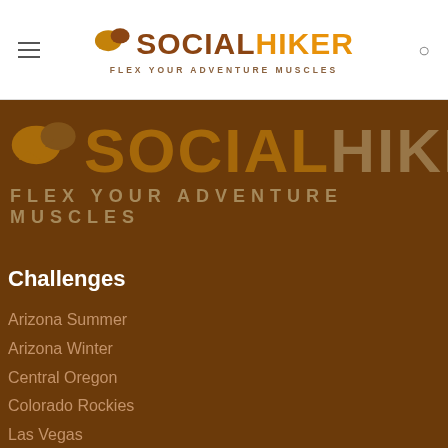[Figure (logo): Social Hiker logo with speech bubble icon, text SOCIALHIKER and tagline FLEX YOUR ADVENTURE MUSCLES in the white navigation bar]
[Figure (logo): Large Social Hiker logo on brown background with speech bubble icon, text SOCIALHIKER and tagline FLEX YOUR ADVENTURE MUSCLES in muted tones]
Challenges
Arizona Summer
Arizona Winter
Central Oregon
Colorado Rockies
Las Vegas
New England